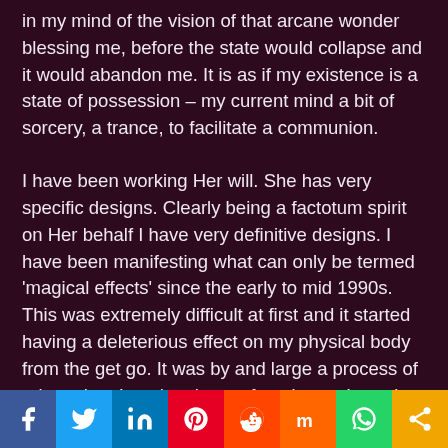in my mind of the vision of that arcane wonder blessing me, before the state would collapse and it would abandon me. It is as if my existence is a state of possession – my current mind a bit of sorcery, a trance, to facilitate a communion.
I have been working Her will. She has very specific designs. Clearly being a factotum spirit on Her behalf I have very definitive designs. I have been manifesting what can only be termed 'magical effects' since the early to mid 1990s. This was extremely difficult at first and it started having a deleterious effect on my physical body from the get go. It was by and large a process of orientation. Imagine the confused state I was in My state was not very dissimilar to a probe having crashed on an alien world and trying to make sense of its surroundings and trying to find a homing beacon for instructions. It took me years of reprogramming my body by trial and error to get a firm grasp on my primary, and years of very cautious and discrete magical operations in the physical world to get a hearing in the real world
Social share bar: Facebook, Twitter, LinkedIn, Pinterest, Reddit, Mix, WhatsApp, Share